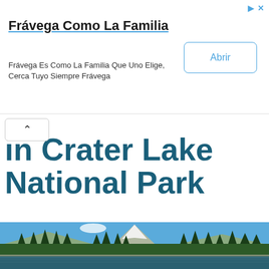Frávega Como La Familia — Frávega Es Como La Familia Que Uno Elige, Cerca Tuyo Siempre Frávega [Advertisement with Abrir button]
in Crater Lake National Park
[Figure (photo): A scenic mountain landscape with a snow-capped peak rising above a dense evergreen forest, reflected in a calm lake in the foreground under a blue sky.]